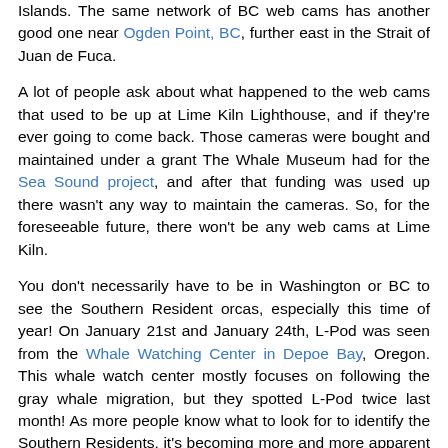Islands. The same network of BC web cams has another good one near Ogden Point, BC, further east in the Strait of Juan de Fuca.
A lot of people ask about what happened to the web cams that used to be up at Lime Kiln Lighthouse, and if they're ever going to come back. Those cameras were bought and maintained under a grant The Whale Museum had for the Sea Sound project, and after that funding was used up there wasn't any way to maintain the cameras. So, for the foreseeable future, there won't be any web cams at Lime Kiln.
You don't necessarily have to be in Washington or BC to see the Southern Resident orcas, especially this time of year! On January 21st and January 24th, L-Pod was seen from the Whale Watching Center in Depoe Bay, Oregon. This whale watch center mostly focuses on following the gray whale migration, but they spotted L-Pod twice last month! As more people know what to look for to identify the Southern Residents, it's becoming more and more apparent that L-Pod and likely K-Pod spend at least part of their winters off the